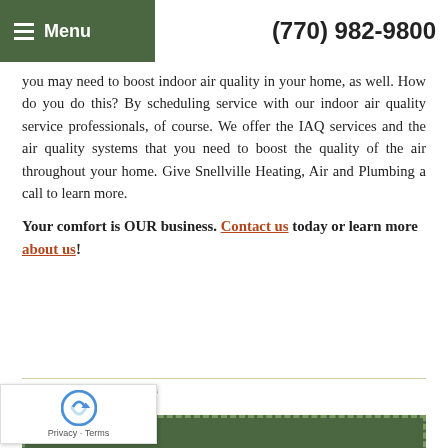Menu  (770) 982-9800
you may need to boost indoor air quality in your home, as well. How do you do this? By scheduling service with our indoor air quality service professionals, of course. We offer the IAQ services and the air quality systems that you need to boost the quality of the air throughout your home. Give Snellville Heating, Air and Plumbing a call to learn more.
Your comfort is OUR business. Contact us today or learn more about us!
Ways to Save
[Figure (infographic): Green coupon banner with dashed border reading 'Up to $600 in Rebates on new, qualifying systems!']